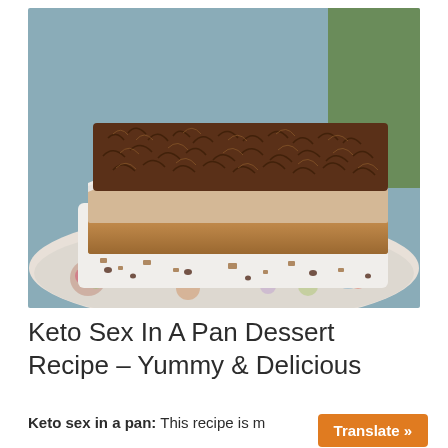[Figure (photo): A layered keto dessert bar on a decorative plate. The dessert has a graham cracker-style crust at the bottom, a creamy middle layer, topped with whipped cream and densely covered with chocolate shavings/curls. Crumbs and chocolate chips scattered on the floral-patterned plate. Outdoor background visible.]
Keto Sex In A Pan Dessert Recipe – Yummy & Delicious
Keto sex in a pan: This recipe is m[...]